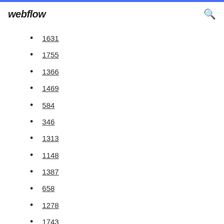webflow
1631
1755
1366
1469
584
346
1313
1148
1387
658
1278
1743